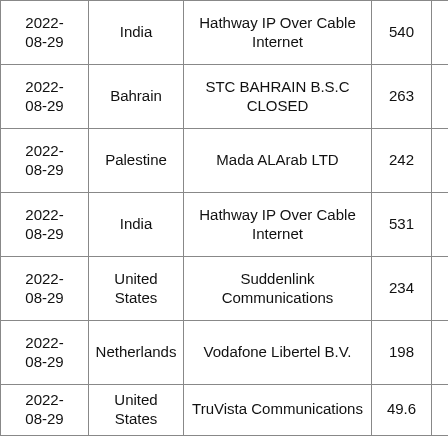| Date | Country | Provider | Value |  |
| --- | --- | --- | --- | --- |
| 2022-08-29 | India | Hathway IP Over Cable Internet | 540 |  |
| 2022-08-29 | Bahrain | STC BAHRAIN B.S.C CLOSED | 263 |  |
| 2022-08-29 | Palestine | Mada ALArab LTD | 242 |  |
| 2022-08-29 | India | Hathway IP Over Cable Internet | 531 |  |
| 2022-08-29 | United States | Suddenlink Communications | 234 |  |
| 2022-08-29 | Netherlands | Vodafone Libertel B.V. | 198 |  |
| 2022-08-29 | United States | TruVista Communications | 49.6 |  |